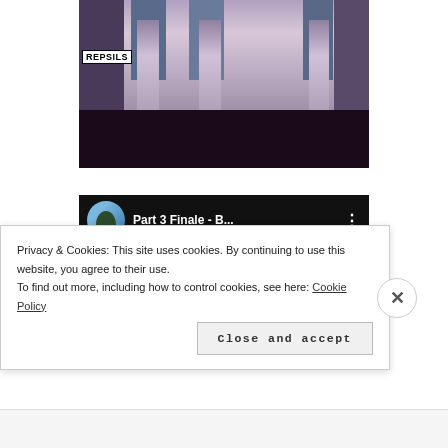[Figure (screenshot): Video thumbnail showing people standing near display stands on a stage with purple backdrop, with a 'REPSILS' label visible in the lower left area of the scene. Bottom portion is black.]
[Figure (screenshot): YouTube-style video thumbnail showing a header with circular avatar, title 'Part 3 Finale - B...' and a three-dot menu icon on black background. Below is a colorful rainbow-striped scene with a person's head visible.]
Privacy & Cookies: This site uses cookies. By continuing to use this website, you agree to their use.
To find out more, including how to control cookies, see here: Cookie Policy
Close and accept